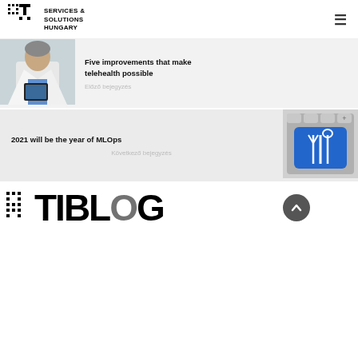IT Services & Solutions Hungary
[Figure (photo): Doctor in white coat using tablet device]
Five improvements that make telehealth possible
Előző bejegyzés
2021 will be the year of MLOps
Következő bejegyzés
[Figure (photo): Blue keyboard key with wrench and fork tool icon]
[Figure (logo): IT Blog footer logo with grid icon and TIBLOG text]